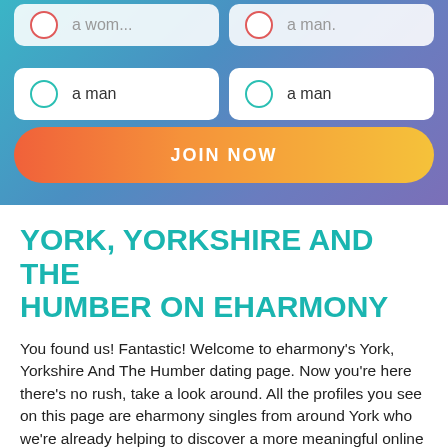[Figure (screenshot): eHarmony dating site signup form showing two rows of radio button options ('a woman'/'a man') with a gradient JOIN NOW button, on a blue-to-purple gradient background]
YORK, YORKSHIRE AND THE HUMBER ON EHARMONY
You found us! Fantastic! Welcome to eharmony's York, Yorkshire And The Humber dating page. Now you're here there's no rush, take a look around. All the profiles you see on this page are eharmony singles from around York who we're already helping to discover a more meaningful online dating experience.